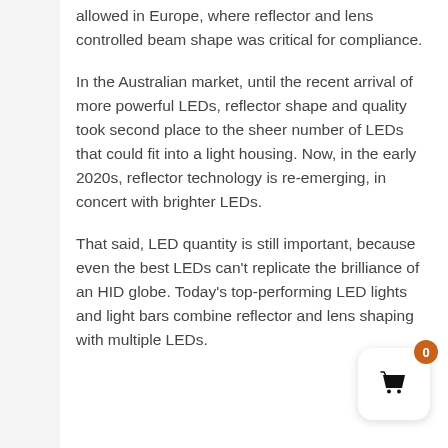allowed in Europe, where reflector and lens controlled beam shape was critical for compliance.
In the Australian market, until the recent arrival of more powerful LEDs, reflector shape and quality took second place to the sheer number of LEDs that could fit into a light housing. Now, in the early 2020s, reflector technology is re-emerging, in concert with brighter LEDs.
That said, LED quantity is still important, because even the best LEDs can't replicate the brilliance of an HID globe. Today's top-performing LED lights and light bars combine reflector and lens shaping with multiple LEDs.